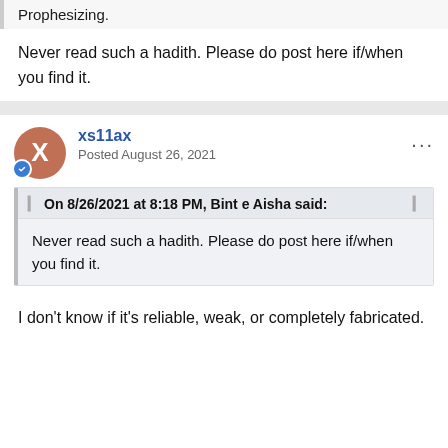Prophesizing.
Never read such a hadith. Please do post here if/when you find it.
xs11ax
Posted August 26, 2021
On 8/26/2021 at 8:18 PM, Bint e Aisha said:
Never read such a hadith. Please do post here if/when you find it.
I don't know if it's reliable, weak, or completely fabricated.